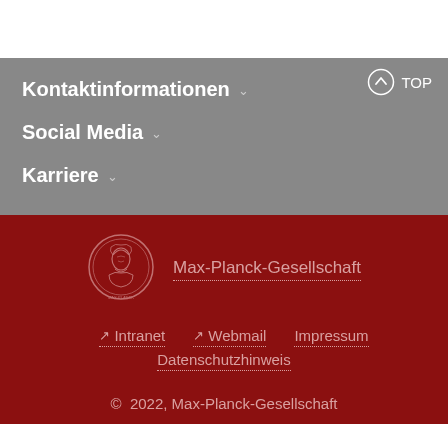Kontaktinformationen
Social Media
Karriere
[Figure (logo): Max-Planck-Gesellschaft medallion logo, circular with figure in relief, outlined in light red on dark red background]
Max-Planck-Gesellschaft
Intranet   Webmail   Impressum   Datenschutzhinweis
© 2022, Max-Planck-Gesellschaft